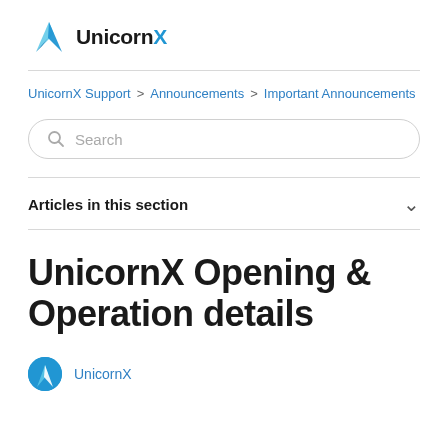UnicornX
UnicornX Support > Announcements > Important Announcements
[Figure (other): Search bar with magnifying glass icon and placeholder text 'Search']
Articles in this section
UnicornX Opening & Operation details
UnicornX